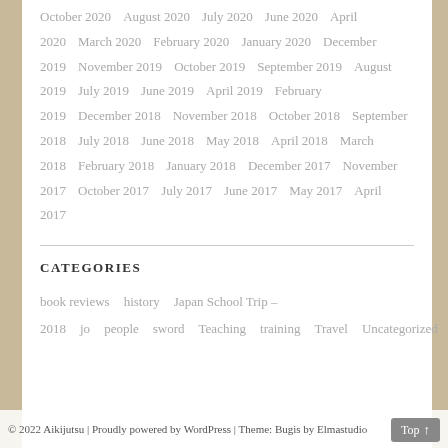October 2020  August 2020  July 2020  June 2020  April 2020  March 2020  February 2020  January 2020  December 2019  November 2019  October 2019  September 2019  August 2019  July 2019  June 2019  April 2019  February 2019  December 2018  November 2018  October 2018  September 2018  July 2018  June 2018  May 2018  April 2018  March 2018  February 2018  January 2018  December 2017  November 2017  October 2017  July 2017  June 2017  May 2017  April 2017
CATEGORIES
book reviews  history  Japan School Trip – 2018  jo  people  sword  Teaching  training  Travel  Uncategorized  weapons
© 2022 Aikijutsu | Proudly powered by WordPress | Theme: Bugis by Elmastudio